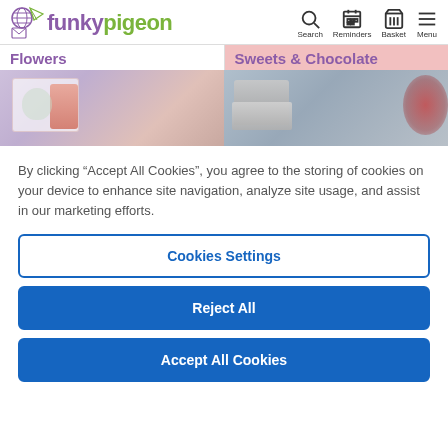funkypigeon — Search, Reminders, Basket, Menu
Flowers
Sweets & Chocolate
[Figure (photo): Two product images side by side: left shows floral/beauty products on a light grey background; right shows a metallic tin with red ribbon on grey background]
By clicking “Accept All Cookies”, you agree to the storing of cookies on your device to enhance site navigation, analyze site usage, and assist in our marketing efforts.
Cookies Settings
Reject All
Accept All Cookies